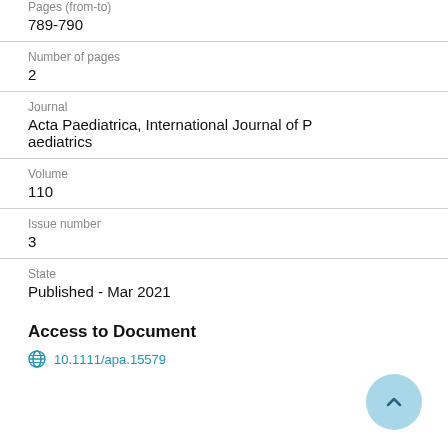789-790
Number of pages
2
Journal
Acta Paediatrica, International Journal of Paediatrics
Volume
110
Issue number
3
State
Published - Mar 2021
Access to Document
10.1111/apa.15579